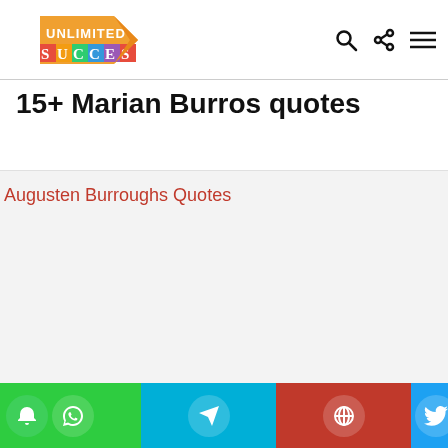Unlimited Success — logo header with search, share, and menu icons
15+ Marian Burros quotes
[Figure (illustration): Broken image placeholder with red text 'Augusten Burroughs Quotes' on a light gray background]
Social sharing bar: WhatsApp (green), Telegram (teal), Pinterest (red), Twitter (blue)